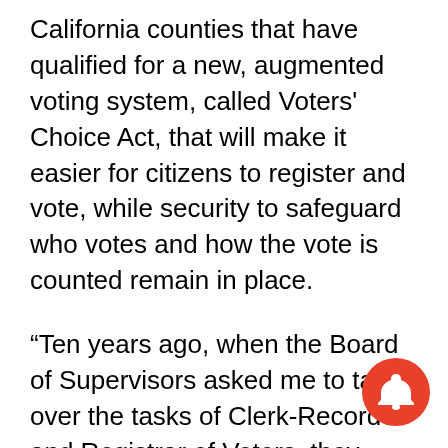California counties that have qualified for a new, augmented voting system, called Voters' Choice Act, that will make it easier for citizens to register and vote, while security to safeguard who votes and how the vote is counted remain in place.
“Ten years ago, when the Board of Supervisors asked me to take over the tasks of Clerk-Recorder and Registrar of Voters, they made a commitment to our county to assure efficient, safe elections,” Diaz said.
“All credit should be given to our supervisors for recognizing the deficiencies that existed then and for continuing to provide the means to upgrade of our systems in the intervening years,” he